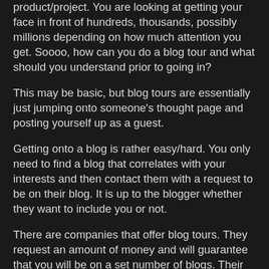product/project. You are looking at getting your face in front of hundreds, thousands, possibly millions depending on how much attention you get. Soooo, how can you do a blog tour and what should you understand prior to going in?
This may be basic, but blog tours are essentially just jumping onto someone's thought page and posting yourself up as a guest.
Getting onto a blog is rather easy/hard. You only need to find a blog that correlates with your interests and then contact them with a request to be on their blog. It is up to the blogger whether they want to include you or not.
There are companies that offer blog tours. They request an amount of money and will guarantee that you will be on a set number of blogs. Their prices range dramatically from 25$ - 1000$ depending on what you request and which blog tour company you use. These groups have a giant e-mail list with hundreds of bloggers CCed on. They have more contacts than you do and have special contests (you provide the prizes) that WILL grow your twitter account's followers and facebook.